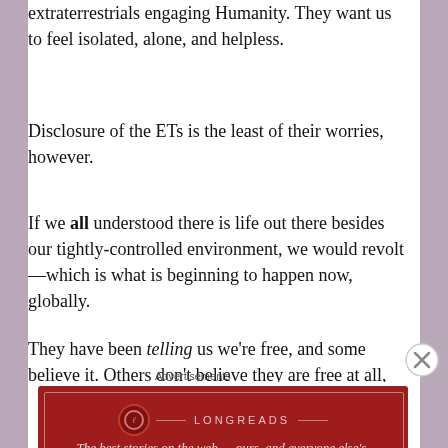extraterrestrials engaging Humanity. They want us to feel isolated, alone, and helpless.
Disclosure of the ETs is the least of their worries, however.
If we all understood there is life out there besides our tightly-controlled environment, we would revolt—which is what is beginning to happen now, globally.
They have been telling us we're free, and some believe it. Others don't believe they are free at all, and that we're simply being manipulated. Where are those freedoms? They are evaporating at warp
Advertisements
[Figure (other): Longreads advertisement banner with red background. Logo circle with 'L', brand name LONGREADS, tagline: The best stories on the web — ours, and everyone else's.]